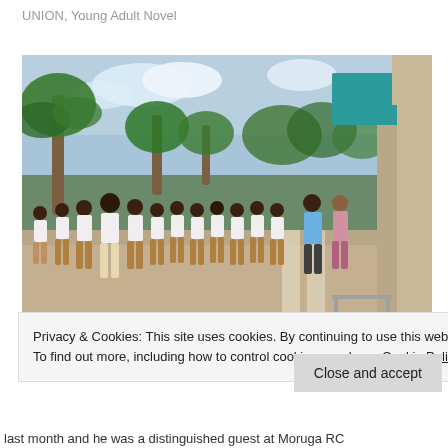UNION, Young Adult Novel
[Figure (photo): School children in plaid uniforms lined up outside a school building with palm trees in the background. Two adults stand at the right side near the school entrance.]
Privacy & Cookies: This site uses cookies. By continuing to use this website, you agree to their use.
To find out more, including how to control cookies, see here: Cookie Policy
last month and he was a distinguished guest at Moruga RC